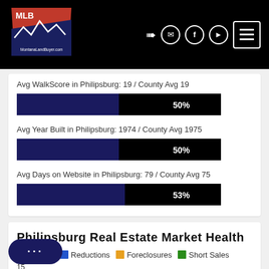[Figure (logo): MontanaLandBuyer.com logo with red and navy state shape and mountain silhouette]
Avg WalkScore in Philipsburg: 19 / County Avg 19
[Figure (bar-chart): WalkScore bar]
Avg Year Built in Philipsburg: 1974 / County Avg 1975
[Figure (bar-chart): Year Built bar]
Avg Days on Website in Philipsburg: 79 / County Avg 75
[Figure (bar-chart): Days on Website bar]
Philipsburg Real Estate Market Health
Listings  Reductions  Foreclosures  Short Sales
15